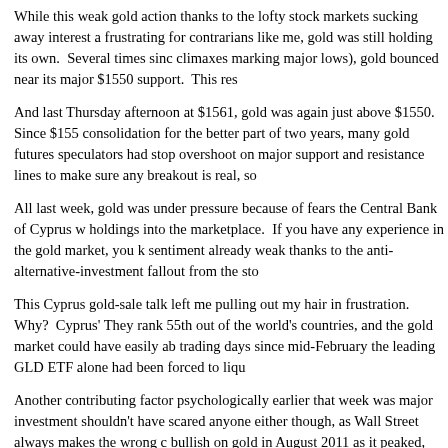While this weak gold action thanks to the lofty stock markets sucking away interest a frustrating for contrarians like me, gold was still holding its own.  Several times since climaxes marking major lows), gold bounced near its major $1550 support.  This res
And last Thursday afternoon at $1561, gold was again just above $1550.  Since $155 consolidation for the better part of two years, many gold futures speculators had stop overshoot on major support and resistance lines to make sure any breakout is real, so
All last week, gold was under pressure because of fears the Central Bank of Cyprus w holdings into the marketplace.  If you have any experience in the gold market, you k sentiment already weak thanks to the anti-alternative-investment fallout from the sto
This Cyprus gold-sale talk left me pulling out my hair in frustration.  Why?  Cyprus' They rank 55th out of the world's countries, and the gold market could have easily ab trading days since mid-February the leading GLD ETF alone had been forced to liqu
Another contributing factor psychologically earlier that week was major investment shouldn't have scared anyone either though, as Wall Street always makes the wrong c bullish on gold in August 2011 as it peaked, calling for imminent surges well into the
But with gold near $1550 support just above a minefield of stops, any selling at all c were wildly against it.  Last Friday morning gold was at $1545 before the main US f after.  Once gold dropped 1% under that $1550 support, stops began to trigger.  Sellin
And this gold selling was completely futures-based initially as the panic started casca Though they've since been raised a little, that morning the maintenance margin on C means futures traders could control 100 ounces of gold worth $156,100 for just 3.5%